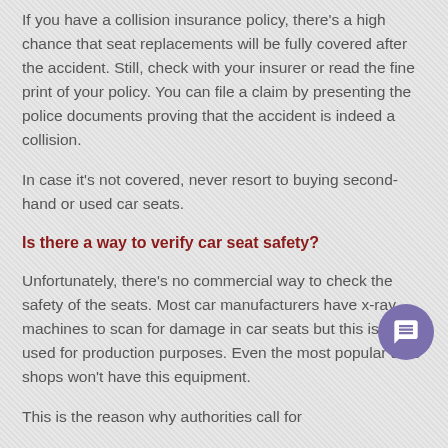If you have a collision insurance policy, there's a high chance that seat replacements will be fully covered after the accident. Still, check with your insurer or read the fine print of your policy. You can file a claim by presenting the police documents proving that the accident is indeed a collision.
In case it's not covered, never resort to buying second-hand or used car seats.
Is there a way to verify car seat safety?
Unfortunately, there's no commercial way to check the safety of the seats. Most car manufacturers have x-ray machines to scan for damage in car seats but this is only used for production purposes. Even the most popular auto shops won't have this equipment.
This is the reason why authorities call for